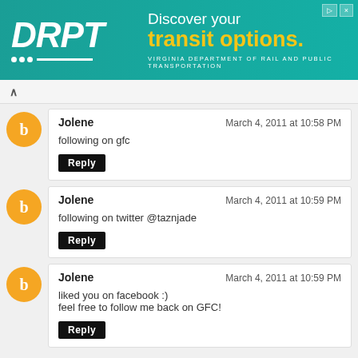[Figure (other): DRPT advertisement banner: green/teal background with DRPT logo on left and 'Discover your transit options. Virginia Department of Rail and Public Transportation' text on right]
following on gfc
Jolene
March 4, 2011 at 10:58 PM
following on gfc
Reply
Jolene
March 4, 2011 at 10:59 PM
following on twitter @taznjade
Reply
Jolene
March 4, 2011 at 10:59 PM
liked you on facebook :)
feel free to follow me back on GFC!
Reply